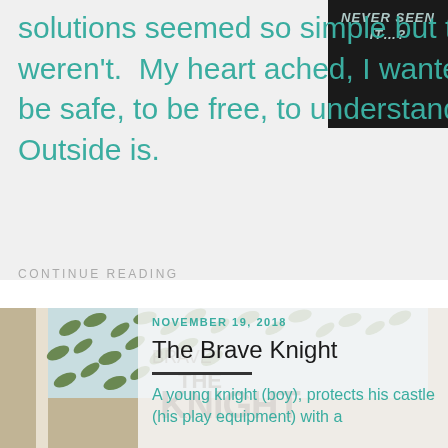solutions seemed so simple but they weren't.  My heart ached, I wanted Ele to be safe, to be free, to understand what the Outside is.
CONTINUE READING
[Figure (photo): Book cover image with green leaf pattern on light blue background and cork border, partially overlaid with a white semi-transparent panel]
NOVEMBER 19, 2018
The Brave Knight
A young knight (boy), protects his castle (his play equipment) with a